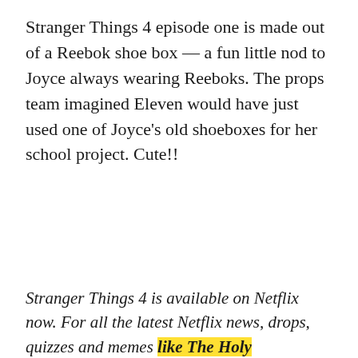Stranger Things 4 episode one is made out of a Reebok shoe box — a fun little nod to Joyce always wearing Reeboks. The props team imagined Eleven would have just used one of Joyce's old shoeboxes for her school project. Cute!!
Stranger Things 4 is available on Netflix now. For all the latest Netflix news, drops, quizzes and memes like The Holy Church of Netflix Facebook...